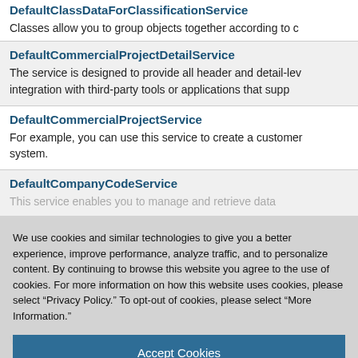DefaultClassDataForClassificationService
Classes allow you to group objects together according to c
DefaultCommercialProjectDetailService
The service is designed to provide all header and detail-level integration with third-party tools or applications that supp
DefaultCommercialProjectService
For example, you can use this service to create a customer system.
DefaultCompanyCodeService
We use cookies and similar technologies to give you a better experience, improve performance, analyze traffic, and to personalize content. By continuing to browse this website you agree to the use of cookies. For more information on how this website uses cookies, please select “Privacy Policy.” To opt-out of cookies, please select “More Information.”
Accept Cookies
More Information
Privacy Policy | Powered by: TrustArc
With this service you can create, read and update SEPA M